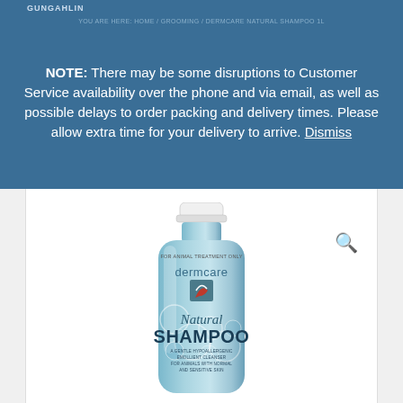GUNGAHLIN
YOU ARE HERE: HOME / GROOMING / DERMCARE NATURAL SHAMPOO 1L
NOTE: There may be some disruptions to Customer Service availability over the phone and via email, as well as possible delays to order packing and delivery times. Please allow extra time for your delivery to arrive. Dismiss
[Figure (photo): Dermcare Natural Shampoo 1L product bottle — a light blue/teal squeeze bottle with bubble graphics, 'dermcare' brand name, a logo mark, 'Natural SHAMPOO' text, and subtext 'A GENTLE HYPOALLERGENIC EMOLLIENT CLEANSER FOR ANIMALS WITH NORMAL AND SENSITIVE SKIN'. White cap on top. Label reads 'FOR ANIMAL TREATMENT ONLY' at top of label.]